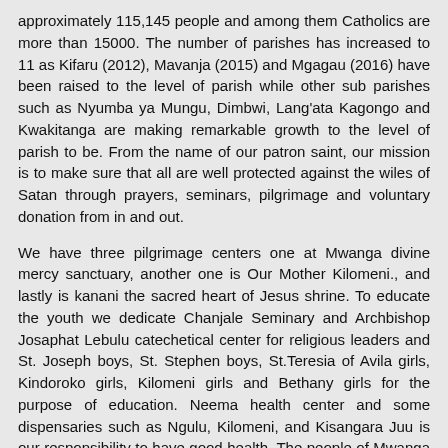approximately 115,145 people and among them Catholics are more than 15000. The number of parishes has increased to 11 as Kifaru (2012), Mavanja (2015) and Mgagau (2016) have been raised to the level of parish while other sub parishes such as Nyumba ya Mungu, Dimbwi, Lang'ata Kagongo and Kwakitanga are making remarkable growth to the level of parish to be. From the name of our patron saint, our mission is to make sure that all are well protected against the wiles of Satan through prayers, seminars, pilgrimage and voluntary donation from in and out.
We have three pilgrimage centers one at Mwanga divine mercy sanctuary, another one is Our Mother Kilomeni., and lastly is kanani the sacred heart of Jesus shrine. To educate the youth we dedicate Chanjale Seminary and Archbishop Josaphat Lebulu catechetical center for religious leaders and St. Joseph boys, St. Stephen boys, St.Teresia of Avila girls, Kindoroko girls, Kilomeni girls and Bethany girls for the purpose of education. Neema health center and some dispensaries such as Ngulu, Kilomeni, and Kisangara Juu is our responsibility to have good health. The people of Mwanga district are peasants and cattle keepers who depend totally on their meager income with few of them who are business men and women. Like the merciful Father we all cry in this vicariate forane 'Who is Like GOD'.